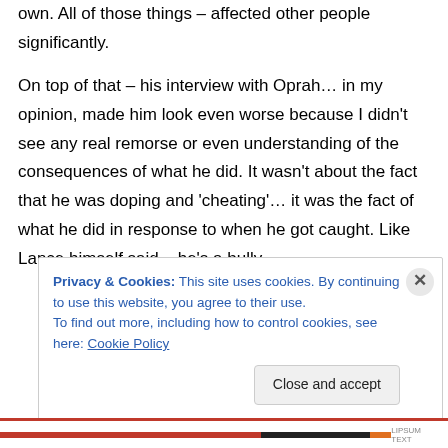own. All of those things – affected other people significantly.
On top of that – his interview with Oprah… in my opinion, made him look even worse because I didn't see any real remorse or even understanding of the consequences of what he did. It wasn't about the fact that he was doping and 'cheating'… it was the fact of what he did in response to when he got caught. Like Lance himself said – he's a bully.
Privacy & Cookies: This site uses cookies. By continuing to use this website, you agree to their use.
To find out more, including how to control cookies, see here: Cookie Policy